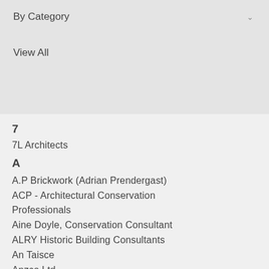By Category
View All
7
7L Architects
A
A.P Brickwork (Adrian Prendergast)
ACP - Architectural Conservation Professionals
Aine Doyle, Conservation Consultant
ALRY Historic Building Consultants
An Taisce
Anzco Ltd
ARC Architectural Consultants